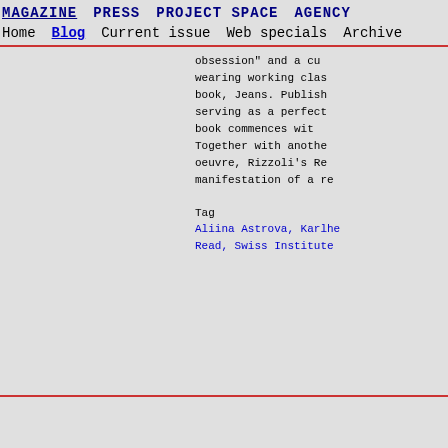MAGAZINE  PRESS  PROJECT SPACE  AGENCY
Home  Blog  Current issue  Web specials  Archive
obsession" and a cu wearing working clas book, Jeans. Publish serving as a perfect book commences wit Together with anothe oeuvre, Rizzoli's Re manifestation of a re
Tag
Aliina Astrova, Karlhe Read, Swiss Institute